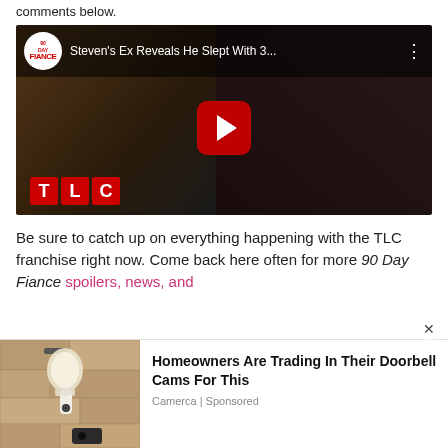comments below.
[Figure (screenshot): YouTube video thumbnail for '90 Day Fiance' channel showing two people in a dark setting. Title: 'Steven's Ex Reveals He Slept With 3...' with 90 Day Fiance logo and TLC logo visible.]
Be sure to catch up on everything happening with the TLC franchise right now. Come back here often for more 90 Day Fiance spoilers, news, and
[Figure (photo): Advertisement image showing a wall-mounted outdoor security camera on a stone/stucco wall.]
Homeowners Are Trading In Their Doorbell Cams For This
Camerca | Sponsored